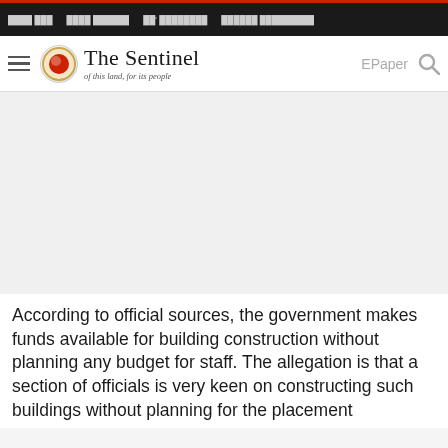The Sentinel — of this land, for its people
According to official sources, the government makes funds available for building construction without planning any budget for staff. The allegation is that a section of officials is very keen on constructing such buildings without planning for the placement...